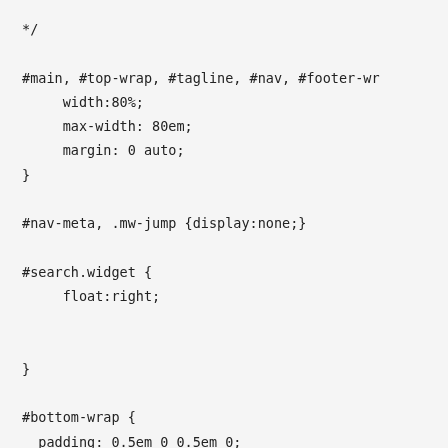*/

#main, #top-wrap, #tagline, #nav, #footer-wr
     width:80%;
     max-width: 80em;
     margin: 0 auto;
}

#nav-meta, .mw-jump {display:none;}

#search.widget {
     float:right;


}

#bottom-wrap {
  padding: 0.5em 0 0.5em 0;
  background:unset;